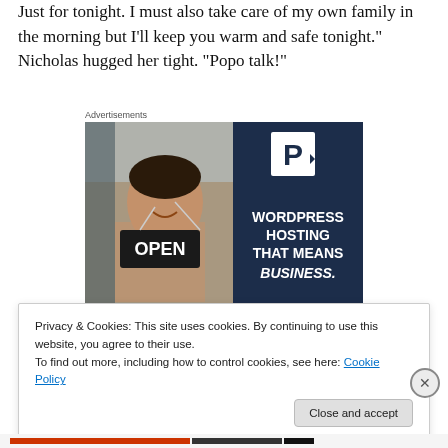Just for tonight. I must also take care of my own family in the morning but I'll keep you warm and safe tonight." Nicholas hugged her tight. "Popo talk!"
Advertisements
[Figure (photo): Advertisement banner showing a woman holding an OPEN sign on the left (photo) and WordPress Hosting That Means Business text with a P logo on a dark blue background on the right.]
Privacy & Cookies: This site uses cookies. By continuing to use this website, you agree to their use.
To find out more, including how to control cookies, see here: Cookie Policy
Close and accept